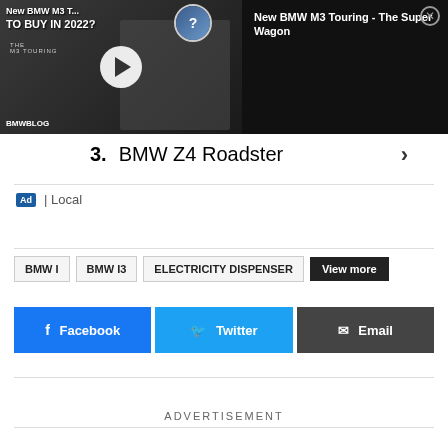[Figure (screenshot): Video thumbnail showing BMW M3 Touring promotional content with play button overlay, text 'New BMW M3 T...' and 'TO BUY IN 2022?' on dark background, alongside black panel with text 'New BMW M3 Touring - The Super Wagon' and close button, BMWBLOG watermark]
3.  BMW Z4 Roadster
Ad | Local
BMW I   BMW I3   ELECTRICITY DISPENSER   View more
Facebook   Twitter   Email
ADVERTISEMENT